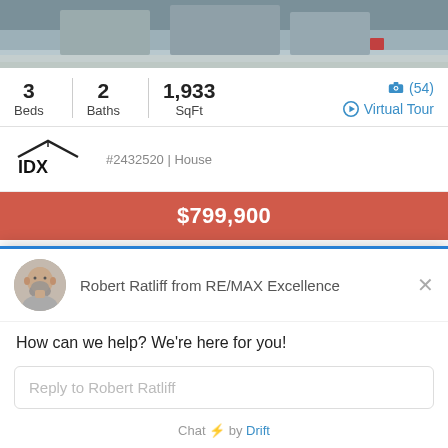[Figure (photo): Partial exterior photo of a house with gravel/desert landscaping, visible at top of page]
3 Beds | 2 Baths | 1,933 SqFt  (54) Virtual Tour
[Figure (logo): IDX logo with house roof icon]
#2432520 | House
$799,900
3141 WASHOE AVENUE
DUMP, NV 00040
[Figure (photo): Circular avatar of Robert Ratliff, a bald man with grey beard]
Robert Ratliff from RE/MAX Excellence
How can we help? We're here for you!
Reply to Robert Ratliff
Chat ⚡ by Drift